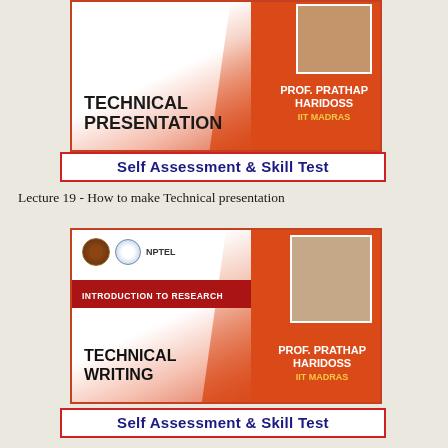[Figure (illustration): NPTEL course thumbnail for Technical Presentation by Prof. Prathap Haridoss, IIT Madras. Orange/red background with white diagonal design, course title on left, professor photo top right, name and institution on right side.]
Self Assessment & Skill Test
Lecture 19 - How to make Technical presentation
[Figure (illustration): NPTEL course thumbnail for Introduction to Research - Technical Writing by Prof. Prathap Haridoss, IIT Madras. Orange/red background with white diagonal design, NPTEL and IIT logos top left, red banner with course series name, course title on lower left, professor photo on right, name and institution bottom right.]
Self Assessment & Skill Test